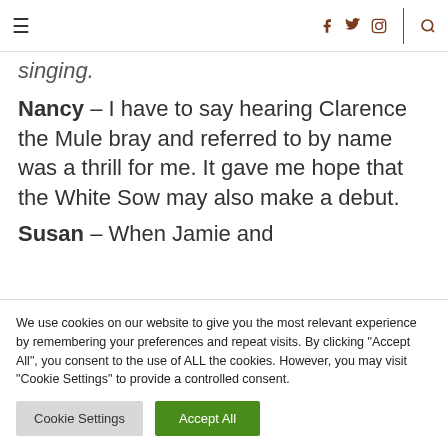≡  f  𝕏  ◎  |  🔍
singing.
Nancy – I have to say hearing Clarence the Mule bray and referred to by name was a thrill for me. It gave me hope that the White Sow may also make a debut.
Susan – When Jamie and
We use cookies on our website to give you the most relevant experience by remembering your preferences and repeat visits. By clicking "Accept All", you consent to the use of ALL the cookies. However, you may visit "Cookie Settings" to provide a controlled consent.